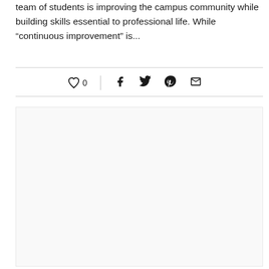team of students is improving the campus community while building skills essential to professional life. While “continuous improvement” is...
[Figure (infographic): Social sharing bar with heart/like icon showing 0 likes, vertical divider, and social media icons for Facebook, Twitter, Pinterest, and Email]
[Figure (other): Large empty light gray content box below the social bar]